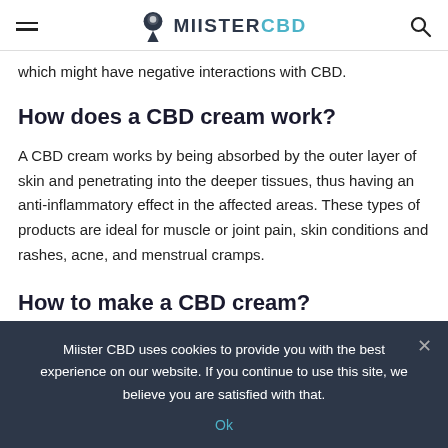MIISTERCBD
which might have negative interactions with CBD.
How does a CBD cream work?
A CBD cream works by being absorbed by the outer layer of skin and penetrating into the deeper tissues, thus having an anti-inflammatory effect in the affected areas. These types of products are ideal for muscle or joint pain, skin conditions and rashes, acne, and menstrual cramps.
How to make a CBD cream?
Miister CBD uses cookies to provide you with the best experience on our website. If you continue to use this site, we believe you are satisfied with that.